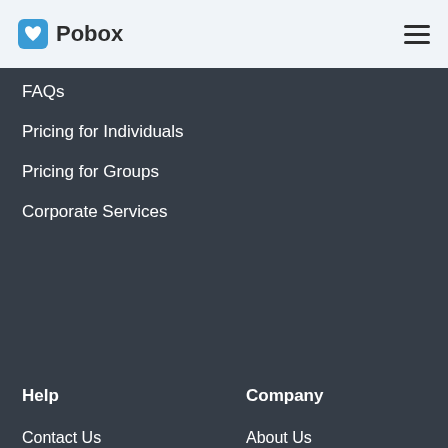[Figure (logo): Pobox logo with blue heart shield icon and text 'Pobox']
FAQs
Pricing for Individuals
Pricing for Groups
Corporate Services
Help
Contact Us
Help Section
Fastmail Blog
Company
About Us
Fastmail Hosted Email
Topicbox Group Email